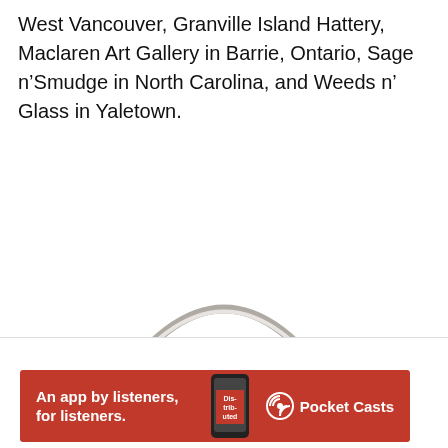West Vancouver, Granville Island Hattery, Maclaren Art Gallery in Barrie, Ontario, Sage n’Smudge in North Carolina, and Weeds n’ Glass in Yaletown.
[Figure (photo): A red speckled tin container/bucket with a silver arc handle, photographed from above showing the top rim and upper portion of the red body with white dot pattern, on a white background.]
Advertisements
[Figure (other): Pocket Casts advertisement banner: red background with text 'An app by listeners, for listeners.' and Pocket Casts logo with a stylized phone graphic.]